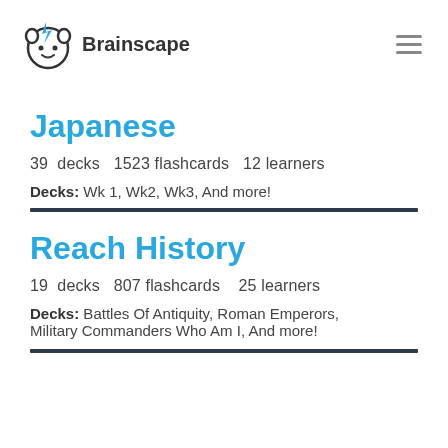Brainscape
Japanese
39 decks   1523 flashcards   12 learners
Decks: Wk 1, Wk2, Wk3, And more!
Reach History
19 decks   807 flashcards   25 learners
Decks: Battles Of Antiquity, Roman Emperors, Military Commanders Who Am I, And more!